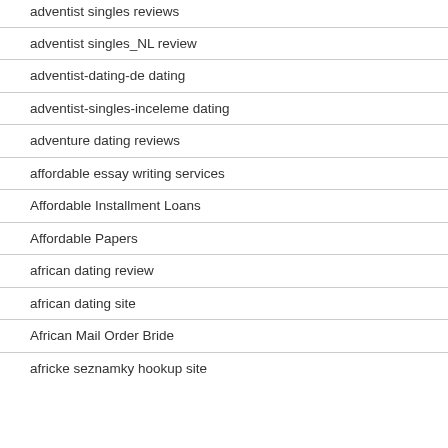adventist singles reviews
adventist singles_NL review
adventist-dating-de dating
adventist-singles-inceleme dating
adventure dating reviews
affordable essay writing services
Affordable Installment Loans
Affordable Papers
african dating review
african dating site
African Mail Order Bride
africke seznamky hookup site